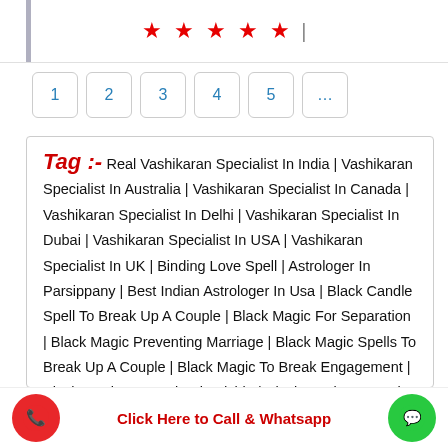[Figure (other): Five red star rating icons followed by a vertical pipe separator]
1  2  3  4  5  ...
Tag :- Real Vashikaran Specialist In India | Vashikaran Specialist In Australia | Vashikaran Specialist In Canada | Vashikaran Specialist In Delhi | Vashikaran Specialist In Dubai | Vashikaran Specialist In USA | Vashikaran Specialist In UK | Binding Love Spell | Astrologer In Parsippany | Best Indian Astrologer In Usa | Black Candle Spell To Break Up A Couple | Black Magic For Separation | Black Magic Preventing Marriage | Black Magic Spells To Break Up A Couple | Black Magic To Break Engagement | Black Magic To Break Friendship | Black Magic To Break Love | Black Magic To Break Marriage | Black Magic To Marry Someone | Black Magic To Separate Couples | Black Magic To Separate Husband And Wife | Can Black Magic Stop Marriage | Do Reconciliation
Click Here to Call & Whatsapp